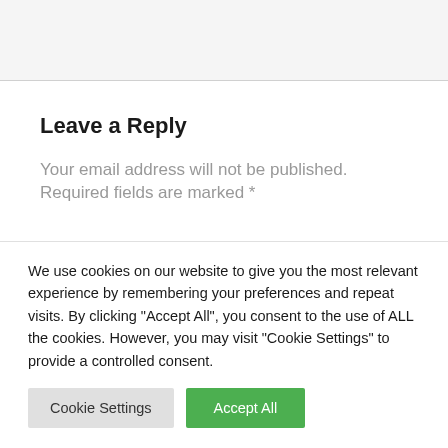Leave a Reply
Your email address will not be published. Required fields are marked *
We use cookies on our website to give you the most relevant experience by remembering your preferences and repeat visits. By clicking "Accept All", you consent to the use of ALL the cookies. However, you may visit "Cookie Settings" to provide a controlled consent.
Cookie Settings | Accept All